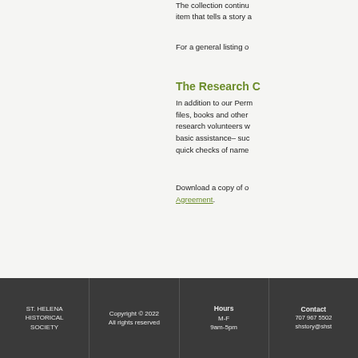The collection continu item that tells a story a
For a general listing o
The Research C
In addition to our Perm files, books and other research volunteers w basic assistance– suc quick checks of name
Download a copy of o Agreement.
ST. HELENA HISTORICAL SOCIETY | Copyright © 2022 All rights reserved | Hours M-F 9am-5pm | Contact 707 967 5502 shstory@shst